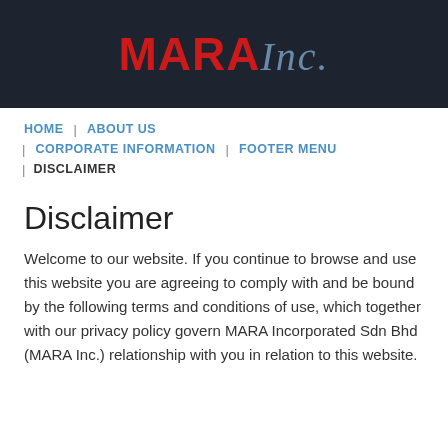[Figure (logo): MARA Inc. logo — 'MARA' in bold red, 'Inc.' in italic blue-grey script on dark navy background]
HOME | ABOUT US | CORPORATE INFORMATION | FOOTER MENU | DISCLAIMER
Disclaimer
Welcome to our website. If you continue to browse and use this website you are agreeing to comply with and be bound by the following terms and conditions of use, which together with our privacy policy govern MARA Incorporated Sdn Bhd (MARA Inc.) relationship with you in relation to this website.